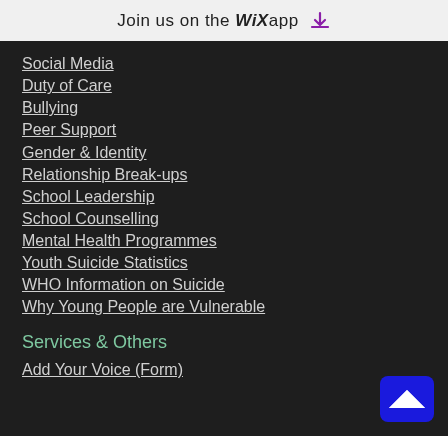Join us on the WiX app
Social Media
Duty of Care
Bullying
Peer Support
Gender & Identity
Relationship Break-ups
School Leadership
School Counselling
Mental Health Programmes
Youth Suicide Statistics
WHO Information on Suicide
Why Young People are Vulnerable
Services & Others
Add Your Voice (Form)